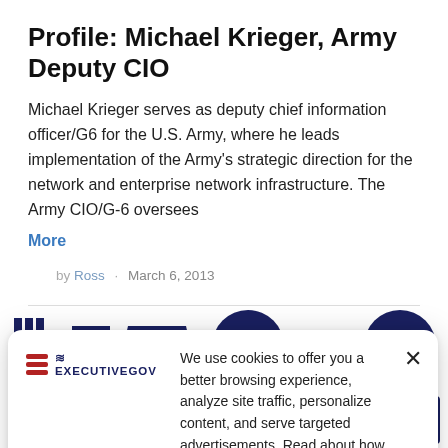Profile: Michael Krieger, Army Deputy CIO
Michael Krieger serves as deputy chief information officer/G6 for the U.S. Army, where he leads implementation of the Army's strategic direction for the network and enterprise network infrastructure. The Army CIO/G-6 oversees
More
by Ross · March 6, 2013
[Figure (logo): ExecutiveGov logo with American flag stripes]
We use cookies to offer you a better browsing experience, analyze site traffic, personalize content, and serve targeted advertisements. Read about how we use cookies and how you can control them on our Privacy Policy. If you continue to use this site, you consent to our use of cookies.